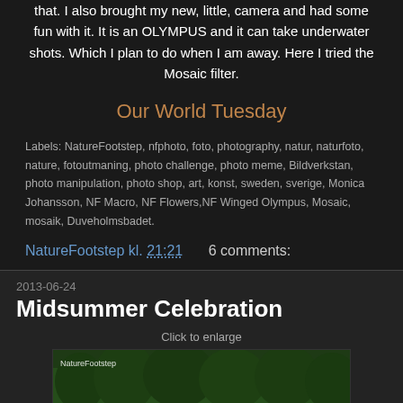that. I also brought my new, little, camera and had some fun with it. It is an OLYMPUS and it can take underwater shots. Which I plan to do when I am away. Here I tried the Mosaic filter.
Our World Tuesday
Labels: NatureFootstep, nfphoto, foto, photography, natur, naturfoto, nature, fotoutmaning, photo challenge, photo meme, Bildverkstan, photo manipulation, photo shop, art, konst, sweden, sverige, Monica Johansson, NF Macro, NF Flowers,NF Winged Olympus, Mosaic, mosaik, Duveholmsbadet.
NatureFootstep kl. 21:21    6 comments:
2013-06-24
Midsummer Celebration
Click to enlarge
[Figure (photo): Outdoor summer photo showing people gathered on a green grassy area with trees in the background, watermark reads NatureFootstep]